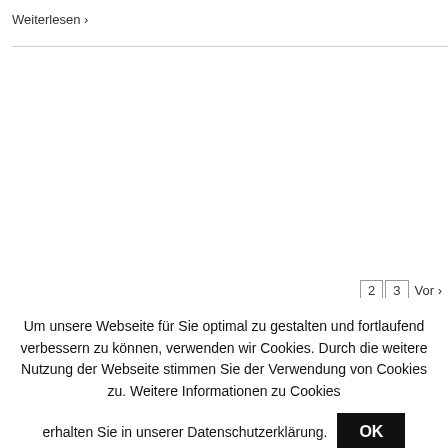Weiterlesen >
2  3  Vor >
[Figure (logo): SPRUNG | Sprachcoaching logo, partially visible at bottom of page]
Um unsere Webseite für Sie optimal zu gestalten und fortlaufend verbessern zu können, verwenden wir Cookies. Durch die weitere Nutzung der Webseite stimmen Sie der Verwendung von Cookies zu. Weitere Informationen zu Cookies erhalten Sie in unserer Datenschutzerklärung.
OK
Weiterlesen